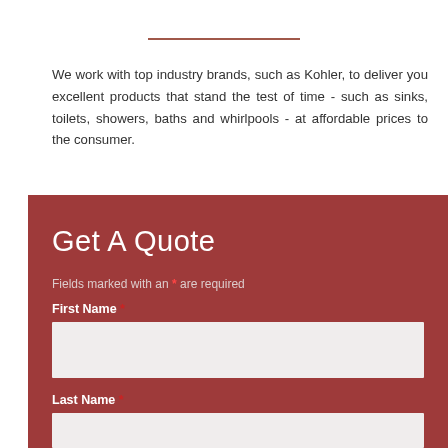We work with top industry brands, such as Kohler, to deliver you excellent products that stand the test of time - such as sinks, toilets, showers, baths and whirlpools - at affordable prices to the consumer.
Get A Quote
Fields marked with an * are required
First Name *
Last Name *